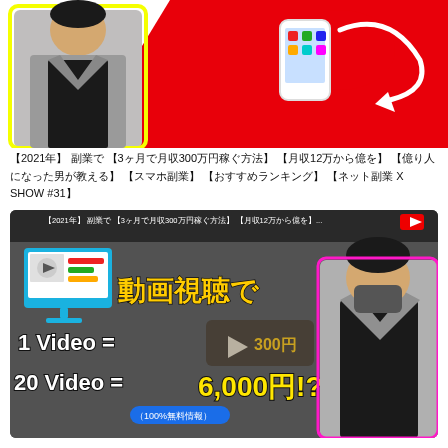[Figure (illustration): Top portion showing a man in a plaid jacket with yellow outline border on left, red diagonal background on right with a smartphone icon and curved arrow]
【2021年】 副業で 【3ヶ月で月収300万円稼ぐ方法】 【月収12万から億を】 【億り人になった男が教える】 【スマホ副業】 【おすすめランキング】 【ネット副業 X SHOW #31】
[Figure (screenshot): Video thumbnail showing: title bar with Japanese text about 2021 earning 300万, monitor icon with colorful interface, Japanese text 動画視聴で (Watch videos), 1 Video = 300円!? with play button overlay, 20 Video = 6,000円!? in large yellow text, (100%無料情報) blue badge, man in mask and plaid jacket on right]